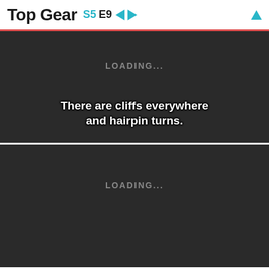Top Gear S5 E9
[Figure (screenshot): Dark video player frame with LOADING... text and subtitle: There are cliffs everywhere and hairpin turns.]
[Figure (screenshot): Dark video player frame with LOADING... text, second video block.]